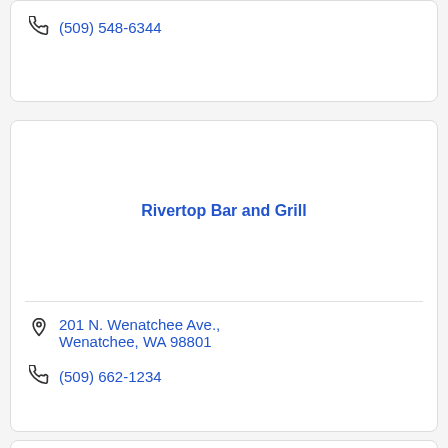(509) 548-6344
Rivertop Bar and Grill
201 N. Wenatchee Ave., Wenatchee, WA 98801
(509) 662-1234